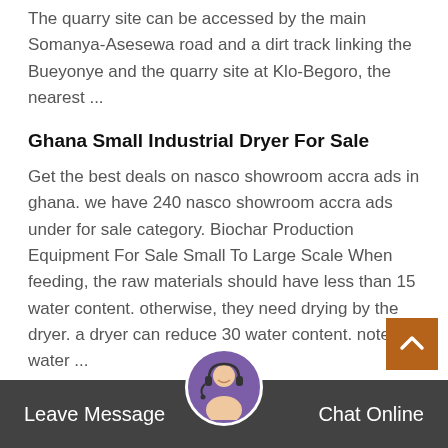The quarry site can be accessed by the main Somanya-Asesewa road and a dirt track linking the Bueyonye and the quarry site at Klo-Begoro, the nearest ...
Ghana Small Industrial Dryer For Sale
Get the best deals on nasco showroom accra ads in ghana. we have 240 nasco showroom accra ads under for sale category. Biochar Production Equipment For Sale Small To Large Scale When feeding, the raw materials should have less than 15 water content. otherwise, they need drying by the dryer. a dryer can reduce 30 water content. note the water ...
Liuzhou crusher seller practice telephone number
Small Business Answers - How many stamps do ...
Leave Message   Chat Online